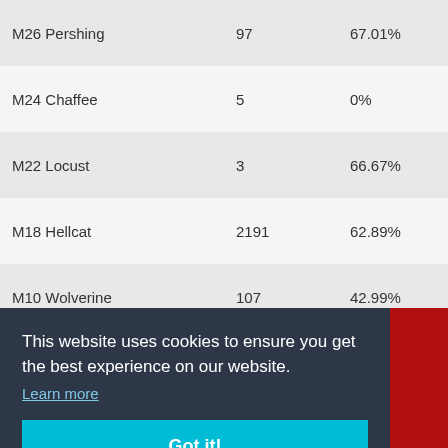| Vehicle | Battles | Win% | WN8 |
| --- | --- | --- | --- |
| M26 Pershing | 97 | 67.01% | 3509 |
| M24 Chaffee | 5 | 0% | 1769 |
| M22 Locust | 3 | 66.67% | 2937 |
| M18 Hellcat | 2191 | 62.89% | 3279 |
| M10 Wolverine | 107 | 42.99% | 552 |
| Löwe | 40 | 40% | 2023 |
| LTP | 1 | 0% | 114 |
| (partial) |  |  | 49 |
| (partial) |  |  | 60 |
| (partial) |  |  | 51 |
| (partial) |  |  | 00 |
| (partial) |  |  | 35 |
| Leichttraktor | 16 | 27.5% | 174 |
This website uses cookies to ensure you get the best experience on our website. Learn more